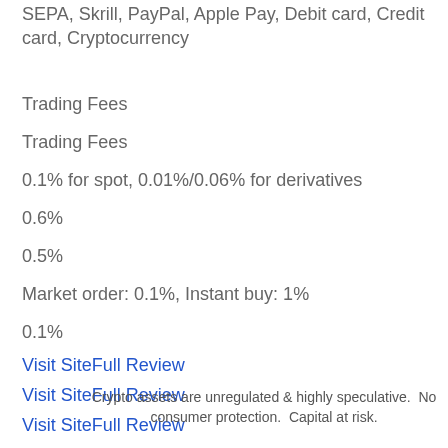SEPA, Skrill, PayPal, Apple Pay, Debit card, Credit card, Cryptocurrency
Trading Fees
Trading Fees
0.1% for spot, 0.01%/0.06% for derivatives
0.6%
0.5%
Market order: 0.1%, Instant buy: 1%
0.1%
Visit SiteFull Review
Visit SiteFull Review
Visit SiteFull Review
Visit SiteFull Review
Visit SiteFull Review
Crypto assets are unregulated & highly speculative.  No consumer protection.  Capital at risk.